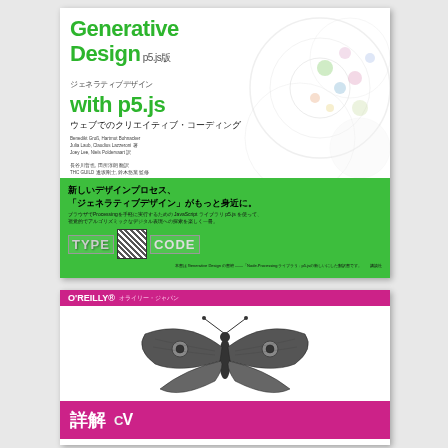[Figure (photo): Book cover: Generative Design with p5.js - ウェブでのクリエイティブ・コーディング. White cover with green title text, decorative circles, green bottom band with TYPE CODE graphic and QR code. Japanese edition published by 講談社.]
[Figure (photo): Book cover: O'REILLY オライリー・ジャパン. Magenta/pink cover with illustration of a moth in black and white on white background, with pink bottom band showing title 詳解 in Japanese.]